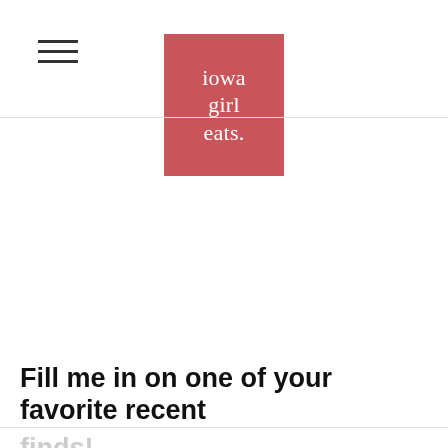[Figure (logo): Iowa Girl Eats logo — red/coral square with white serif text reading 'iowa girl eats.']
Fill me in on one of your favorite recent finds!